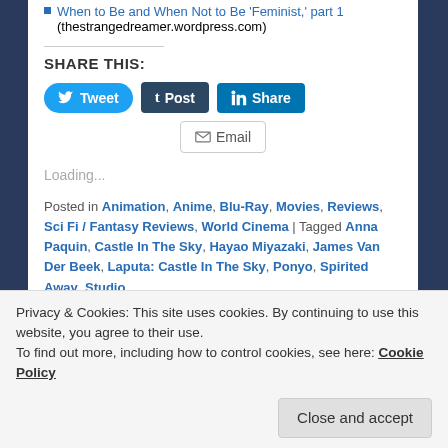When to Be and When Not to Be 'Feminist,' part 1 (thestrangedreamer.wordpress.com)
SHARE THIS:
[Figure (screenshot): Social sharing buttons: Tweet (Twitter), Post (Tumblr), Share (LinkedIn), Email]
Loading...
Posted in Animation, Anime, Blu-Ray, Movies, Reviews, Sci Fi / Fantasy Reviews, World Cinema | Tagged Anna Paquin, Castle In The Sky, Hayao Miyazaki, James Van Der Beek, Laputa: Castle In The Sky, Ponyo, Spirited Away, Studio
Privacy & Cookies: This site uses cookies. By continuing to use this website, you agree to their use. To find out more, including how to control cookies, see here: Cookie Policy